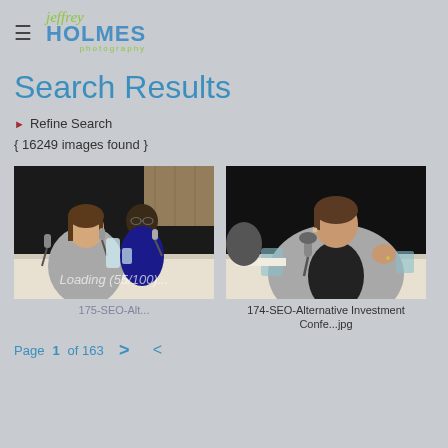Jeffrey Holmes Photography
Search Results
▶ Refine Search
{ 16249 images found }
[Figure (photo): Two people at a conference panel — a woman in a grey cardigan speaking near a microphone, a man with glasses behind her. Dark background with conference table. Loading overlay text visible: Loading (55/100)...]
175-SEO-Alt...
[Figure (photo): Woman in grey cardigan speaking at a conference, gesturing with her hand, microphone in front, dark background.]
174-SEO-Alternative Investment Confe...jpg
Page 1 of 163  >  <